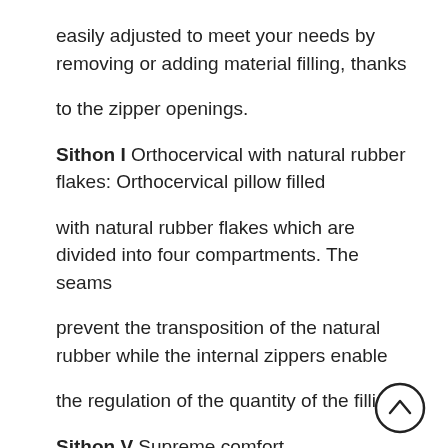easily adjusted to meet your needs by removing or adding material filling, thanks
to the zipper openings.
Sithon I Orthocervical with natural rubber flakes: Orthocervical pillow filled
with natural rubber flakes which are divided into four compartments. The seams
prevent the transposition of the natural rubber while the internal zippers enable
the regulation of the quantity of the filling.
Sithon V Supreme comfort combined with the hypoallergenic properties of pure